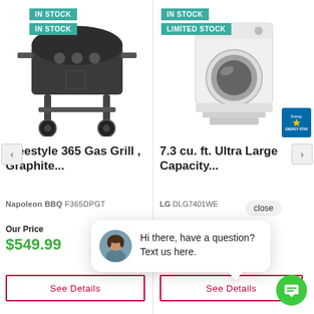[Figure (screenshot): E-commerce product listing page showing two products side by side: a Freestyle 365 Gas Grill and a 7.3 cu. ft. Ultra Large Capacity dryer, with stock badges, prices, and a live chat popup overlay with a chat FAB button.]
IN STOCK
IN STOCK
IN STOCK
LIMITED STOCK
Freestyle 365 Gas Grill , Graphite...
7.3 cu. ft. Ultra Large Capacity...
Napoleon BBQ F365DPGT
LG DLG7401WE
close
Our Price
$549.99
Hi there, have a question? Text us here.
See Details
See Details